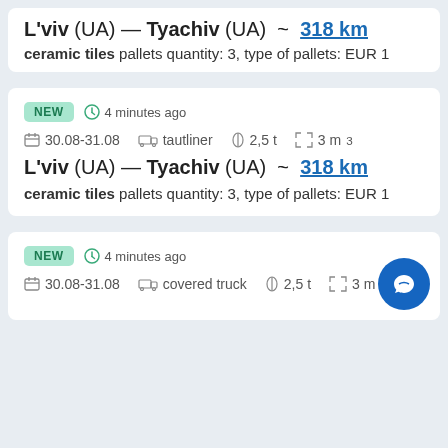L'viv (UA) — Tyachiv (UA) ~ 318 km
ceramic tiles pallets quantity: 3, type of pallets: EUR 1
NEW  4 minutes ago
30.08-31.08  tautliner  2,5 t  3 m³
L'viv (UA) — Tyachiv (UA) ~ 318 km
ceramic tiles pallets quantity: 3, type of pallets: EUR 1
NEW  4 minutes ago
30.08-31.08  covered truck  2,5 t  3 m